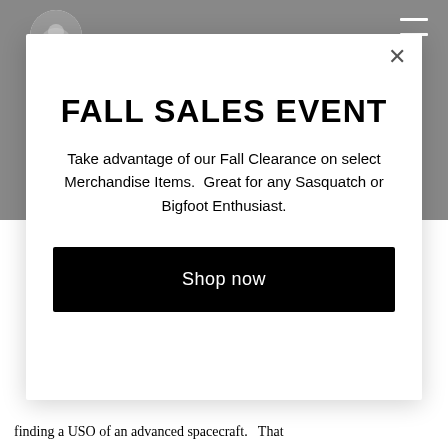[Figure (screenshot): Website header with gray background, circular logo in top-left, and hamburger menu icon in top-right]
FALL SALES EVENT
Take advantage of our Fall Clearance on select Merchandise Items.  Great for any Sasquatch or Bigfoot Enthusiast.
Shop now
finding a USO of an advanced spacecraft.  That